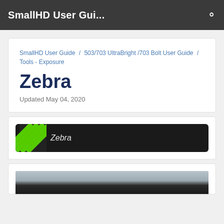SmallHD User Gui...
SmallHD User Guide / 503/703 UltraBright /703 Bolt User Guide / Tools - Exposure
Zebra
Updated May 04, 2020
[Figure (screenshot): Zebra UI element showing dark bar with green striped icon on left and 'Zebra' label in italic white text]
[Figure (photo): Black and white photo of tree branches against a light sky]